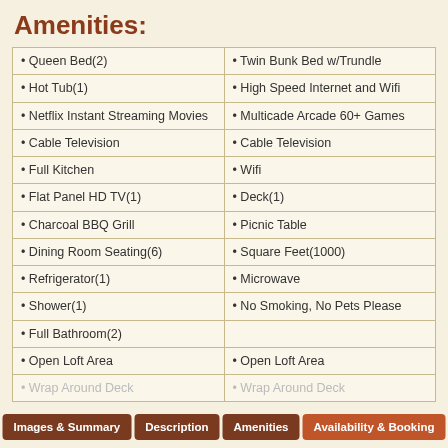Amenities:
| Left | Right |
| --- | --- |
| • Queen Bed(2) | • Twin Bunk Bed w/Trundle |
| • Hot Tub(1) | • High Speed Internet and Wifi |
| • Netflix Instant Streaming Movies | • Multicade Arcade 60+ Games |
| • Cable Television | • Cable Television |
| • Full Kitchen | • Wifi |
| • Flat Panel HD TV(1) | • Deck(1) |
| • Charcoal BBQ Grill | • Picnic Table |
| • Dining Room Seating(6) | • Square Feet(1000) |
| • Refrigerator(1) | • Microwave |
| • Shower(1) | • No Smoking, No Pets Please |
| • Full Bathroom(2) |  |
| • Open Loft Area | • Open Loft Area |
| • Wrap Around Deck | • Wrap Around Deck |
Images & Summary | Description | Amenities | Availability & Booking